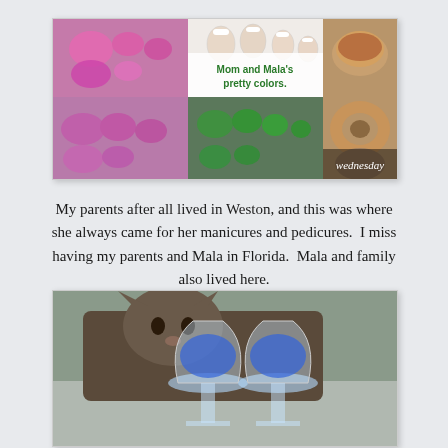[Figure (photo): Collage of four photos: top-left shows pink/purple painted fingernails and toenails, top-center shows natural French manicure fingernails with text overlay 'Mom and Mala's pretty colors.', top-right shows a coffee cup with a bagel and stuffed animal, bottom-center shows green glittery toenails, bottom-right shows a bagel with text overlay 'Wednesday']
My parents after all lived in Weston, and this was where she always came for her manicures and pedicures.  I miss having my parents and Mala in Florida.  Mala and family also lived here.
[Figure (photo): Photo of a cat peeking between two wine glasses filled with blue liquid, with text 'FORT LAUDERDALE' visible on the right side]